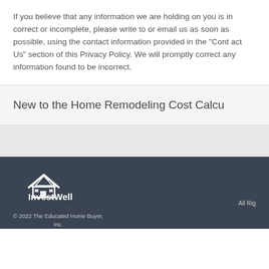If you believe that any information we are holding on you is incorrect or incomplete, please write to or email us as soon as possible, using the contact information provided in the "Contact Us" section of this Privacy Policy. We will promptly correct any information found to be incorrect.
New to the Home Remodeling Cost Calcu...
[Figure (logo): InvestWell logo with house icon above the text InvestWell]
© 2022 The Educated Home Buyer, Inc.
DBA InvestWell
All Rig...